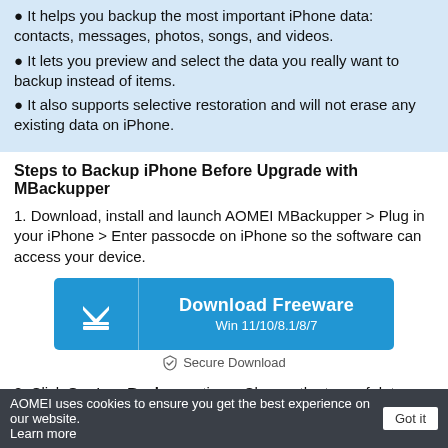It helps you backup the most important iPhone data: contacts, messages, photos, songs, and videos.
It lets you preview and select the data you really want to backup instead of items.
It also supports selective restoration and will not erase any existing data on iPhone.
Steps to Backup iPhone Before Upgrade with MBackupper
1. Download, install and launch AOMEI MBackupper > Plug in your iPhone > Enter passocde on iPhone so the software can access your device.
[Figure (other): Download Freeware button for Win 11/10/8.1/8/7 with a download arrow icon and Secure Download label below]
2. Click Custom Backup option > Choose the type of data you
AOMEI uses cookies to ensure you get the best experience on our website. Learn more  Got it